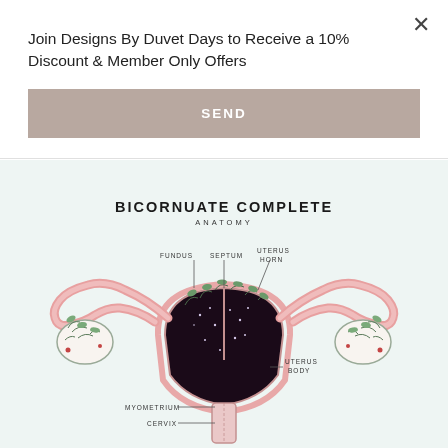Join Designs By Duvet Days to Receive a 10% Discount & Member Only Offers
SEND
[Figure (illustration): Anatomical illustration of a bicornuate complete uterus with botanical decorations. Labels indicate: FUNDUS, SEPTUM, UTERUS HORN, UTERUS BODY, MYOMETRIUM, CERVIX. The uterus shows a dark starry interior with pink walls and curling fallopian tubes on both sides. Botanical floral/leaf decorations are placed around the ovaries and uterine horns.]
BICORNUATE COMPLETE
ANATOMY